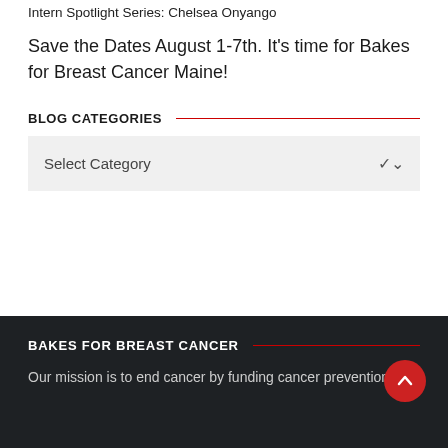Intern Spotlight Series: Chelsea Onyango
Save the Dates August 1-7th. It's time for Bakes for Breast Cancer Maine!
BLOG CATEGORIES
Select Category
BAKES FOR BREAST CANCER
Our mission is to end cancer by funding cancer prevention